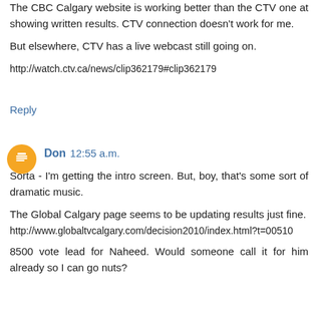The CBC Calgary website is working better than the CTV one at showing written results. CTV connection doesn't work for me.

But elsewhere, CTV has a live webcast still going on.

http://watch.ctv.ca/news/clip362179#clip362179
Reply
Don  12:55 a.m.
Sorta - I'm getting the intro screen. But, boy, that's some sort of dramatic music.

The Global Calgary page seems to be updating results just fine.
http://www.globaltvcalgary.com/decision2010/index.html?t=00510

8500 vote lead for Naheed. Would someone call it for him already so I can go nuts?